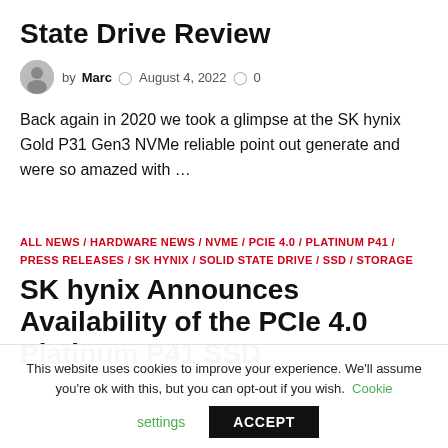State Drive Review
by Marc  August 4, 2022  0
Back again in 2020 we took a glimpse at the SK hynix Gold P31 Gen3 NVMe reliable point out generate and were so amazed with …
ALL NEWS / HARDWARE NEWS / NVME / PCIE 4.0 / PLATINUM P41 / PRESS RELEASES / SK HYNIX / SOLID STATE DRIVE / SSD / STORAGE
SK hynix Announces Availability of the PCIe 4.0 Platinum P41 SSD
This website uses cookies to improve your experience. We'll assume you're ok with this, but you can opt-out if you wish. Cookie settings ACCEPT